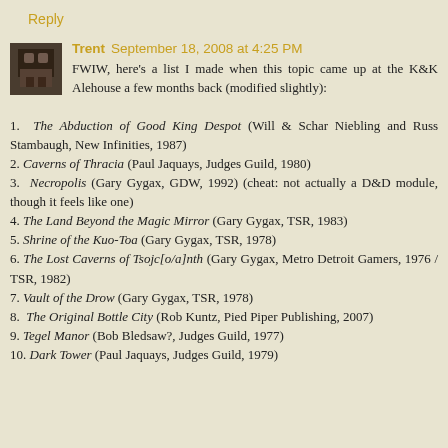Reply
Trent September 18, 2008 at 4:25 PM
FWIW, here's a list I made when this topic came up at the K&K Alehouse a few months back (modified slightly):
1. The Abduction of Good King Despot (Will & Schar Niebling and Russ Stambaugh, New Infinities, 1987)
2. Caverns of Thracia (Paul Jaquays, Judges Guild, 1980)
3. Necropolis (Gary Gygax, GDW, 1992) (cheat: not actually a D&D module, though it feels like one)
4. The Land Beyond the Magic Mirror (Gary Gygax, TSR, 1983)
5. Shrine of the Kuo-Toa (Gary Gygax, TSR, 1978)
6. The Lost Caverns of Tsojc[o/a]nth (Gary Gygax, Metro Detroit Gamers, 1976 / TSR, 1982)
7. Vault of the Drow (Gary Gygax, TSR, 1978)
8. The Original Bottle City (Rob Kuntz, Pied Piper Publishing, 2007)
9. Tegel Manor (Bob Bledsaw?, Judges Guild, 1977)
10. Dark Tower (Paul Jaquays, Judges Guild, 1979)